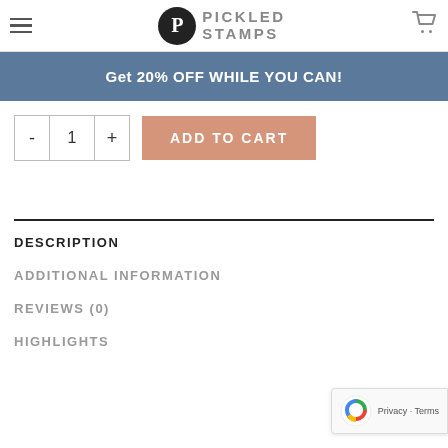PICKLED STAMPS
Get 20% OFF WHILE YOU CAN!
- 1 + ADD TO CART
DESCRIPTION
ADDITIONAL INFORMATION
REVIEWS (0)
HIGHLIGHTS